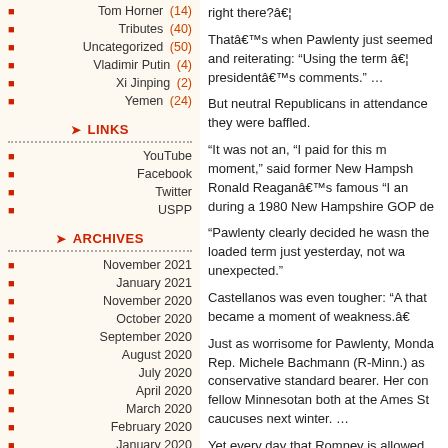Tom Horner (14)
Tributes (40)
Uncategorized (50)
Vladimir Putin (4)
Xi Jinping (2)
Yemen (24)
LINKS
YouTube
Facebook
Twitter
USPP
ARCHIVES
November 2021
January 2021
November 2020
October 2020
September 2020
August 2020
July 2020
April 2020
March 2020
February 2020
January 2020
right there?â¦
Thatâs when Pawlenty just seemed to keep repeating and reiterating: âUsing the term â¦ I stand by the presidentâs comments.â …
But neutral Republicans in attendance said they were baffled.
âIt was not an, âI paid for this microphoneâ moment,â said former New Hampshire ... Ronald Reaganâs famous âI am payingâ line during a 1980 New Hampshire GOP de
âPawlenty clearly decided he wasn’t using the loaded term just yesterday, not wanting the unexpected.â
Castellanos was even tougher: âA moment that became a moment of weakness.â
Just as worrisome for Pawlenty, Monday featured Rep. Michele Bachmann (R-Minn.) as a conservative standard bearer. Her competition as a fellow Minnesotan both at the Ames St... caucuses next winter. …
Yet every day that Romney is allowed to skate by by his GOP rivals is another day that he ... throughout the 120 minutes here, he w... Obama message without having to duc... …